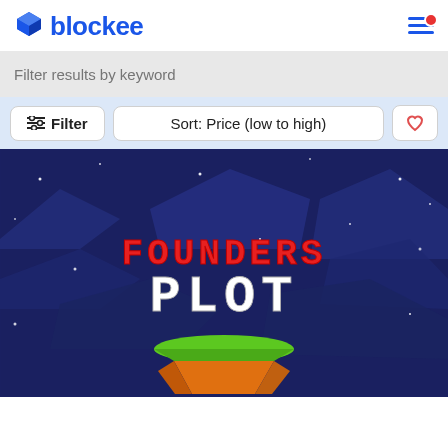blockee
Filter results by keyword
Filter  Sort: Price (low to high)
[Figure (screenshot): Founders Plot game artwork showing pixel-art text 'FOUNDERS PLOT' in red and white on a dark blue starry background with a floating island (green top, orange underside)]